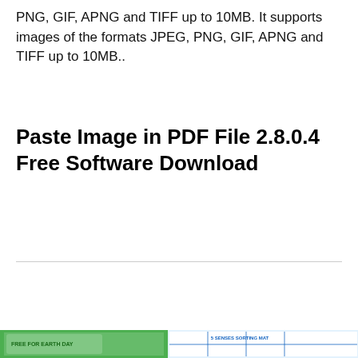PNG, GIF, APNG and TIFF up to 10MB. It supports images of the formats JPEG, PNG, GIF, APNG and TIFF up to 10MB..
Paste Image in PDF File 2.8.0.4 Free Software Download
[Figure (illustration): Earth Day Cut and Paste Center Sorting Activity Free Instant Download — card with avatar/logo on left and title text on right, followed by a colorful Earth Day sorting activity worksheet image at the bottom.]